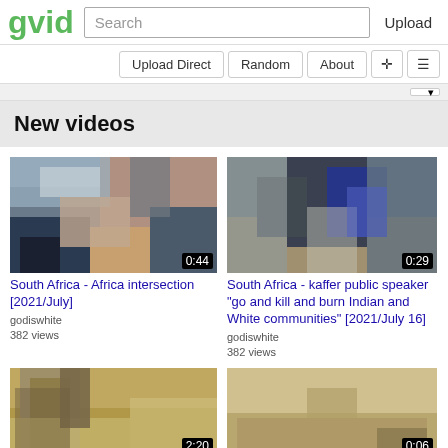gvid | Search | Upload
Upload Direct | Random | About
New videos
[Figure (screenshot): Video thumbnail showing blurred people, duration 0:44]
South Africa - Africa intersection [2021/July]
godiswhite
382 views
[Figure (screenshot): Video thumbnail showing person with camera equipment, duration 0:29]
South Africa - kaffer public speaker "go and kill and burn Indian and White communities" [2021/July 16]
godiswhite
382 views
[Figure (screenshot): Video thumbnail showing tree and dry grass, duration 2:20]
[Figure (screenshot): Video thumbnail showing dry ground, duration 0:06]